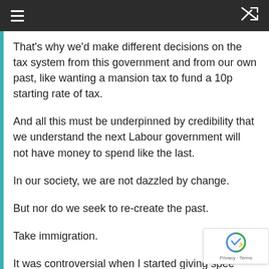≡  ⇌
That's why we'd make different decisions on the tax system from this government and from our own past, like wanting a mansion tax to fund a 10p starting rate of tax.
And all this must be underpinned by credibility that we understand the next Labour government will not have money to spend like the last.
In our society, we are not dazzled by change.
But nor do we seek to re-create the past.
Take immigration.
It was controversial when I started giving speeches on immigration a year ago.